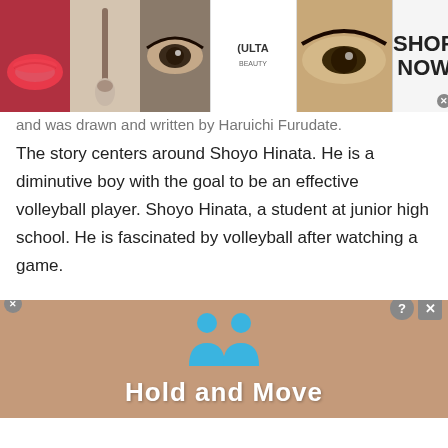[Figure (photo): ULTA Beauty advertisement banner at top with makeup images (lips, brush, eye), ULTA logo in center, eye close-up, and SHOP NOW call to action button with close X]
and was drawn and written by Haruichi Furudate.
The story centers around Shoyo Hinata. He is a diminutive boy with the goal to be an effective volleyball player. Shoyo Hinata, a student at junior high school. He is fascinated by volleyball after watching a game.
The game was actually a Karasuno High School match. They played and won the Nationals on TV. Hinata herself is inspired by the player named “The
[Figure (screenshot): Hold and Move game advertisement banner at bottom with blue person icons and text 'Hold and Move' in white bold font on brownish background, with ? and X close buttons]